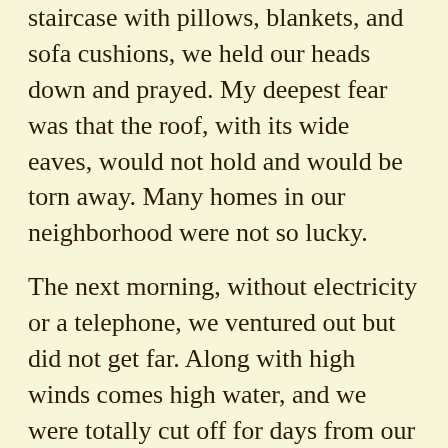staircase with pillows, blankets, and sofa cushions, we held our heads down and prayed. My deepest fear was that the roof, with its wide eaves, would not hold and would be torn away. Many homes in our neighborhood were not so lucky.
The next morning, without electricity or a telephone, we ventured out but did not get far. Along with high winds comes high water, and we were totally cut off for days from our friends and coworkers. We were used to frequently being without power, so candles were the order of the day. I wrote some stories and painted. Later, when we all got together to compare notes, I learned that my boss at the time had been trapped in his car in deep water for the first night.
When our first big typhoon hit us in Hong Kong